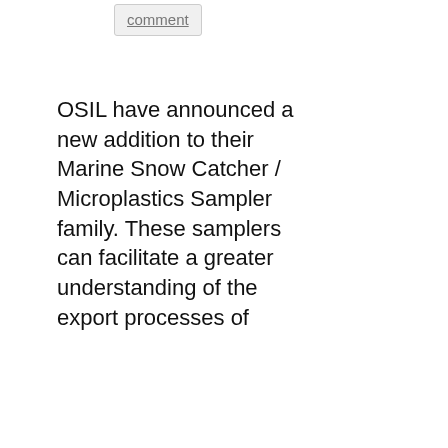comment
OSIL have announced a new addition to their Marine Snow Catcher / Microplastics Sampler family. These samplers can facilitate a greater understanding of the export processes of